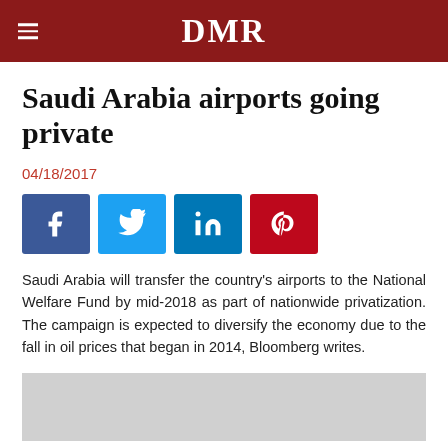DMR
Saudi Arabia airports going private
04/18/2017
[Figure (infographic): Social media share buttons row: Facebook (blue), Twitter (light blue), LinkedIn (dark blue), Pinterest (red)]
Saudi Arabia will transfer the country's airports to the National Welfare Fund by mid-2018 as part of nationwide privatization. The campaign is expected to diversify the economy due to the fall in oil prices that began in 2014, Bloomberg writes.
[Figure (photo): Gray placeholder image at bottom of article]